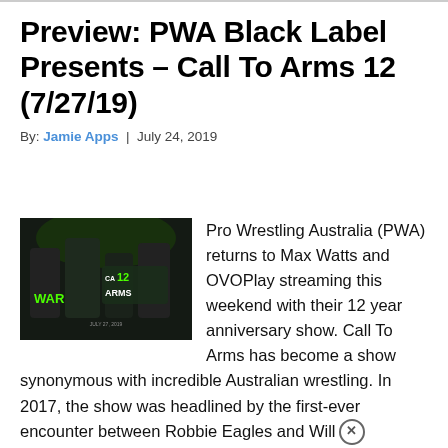Preview: PWA Black Label Presents – Call To Arms 12 (7/27/19)
By: Jamie Apps | July 24, 2019
[Figure (photo): Promotional poster for PWA Call To Arms 12 event, showing wrestlers with green and black design, text reads WAR CALL 12 ARMS]
Pro Wrestling Australia (PWA) returns to Max Watts and OVOPlay streaming this weekend with their 12 year anniversary show. Call To Arms has become a show synonymous with incredible Australian wrestling. In 2017, the show was headlined by the first-ever encounter between Robbie Eagles and Will Ospreay. Then in 2018 the two once again headlined the [...] READ MORE